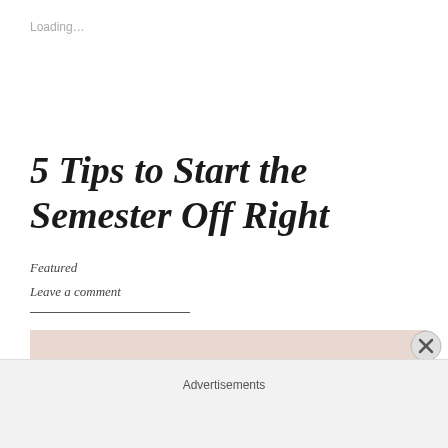Loading…
5 Tips to Start the Semester Off Right
Featured
Leave a comment
[Figure (photo): Partial view of a light pink/beige styled scene with dark objects visible at the bottom]
Advertisements